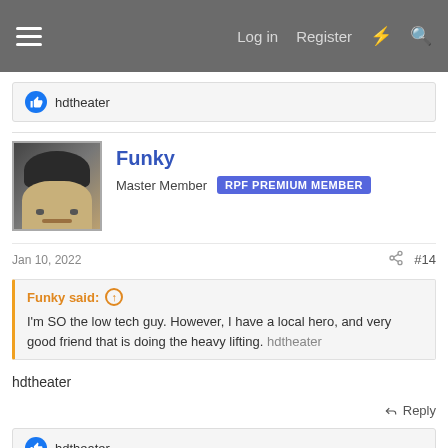Log in  Register
hdtheater
Funky
Master Member  RPF PREMIUM MEMBER
Jan 10, 2022  #14
Funky said:
I'm SO the low tech guy. However, I have a local hero, and very good friend that is doing the heavy lifting. hdtheater
hdtheater
hdtheater